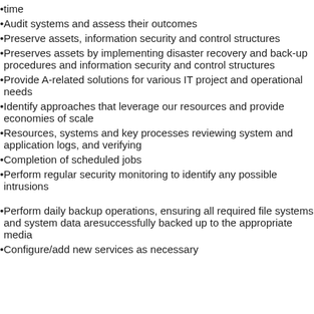time
Audit systems and assess their outcomes
Preserve assets, information security and control structures
Preserves assets by implementing disaster recovery and back-up procedures and information security and control structures
Provide A-related solutions for various IT project and operational needs
Identify approaches that leverage our resources and provide economies of scale
Resources, systems and key processes reviewing system and application logs, and verifying
Completion of scheduled jobs
Perform regular security monitoring to identify any possible intrusions
Perform daily backup operations, ensuring all required file systems and system data aresuccessfully backed up to the appropriate media
Configure/add new services as necessary